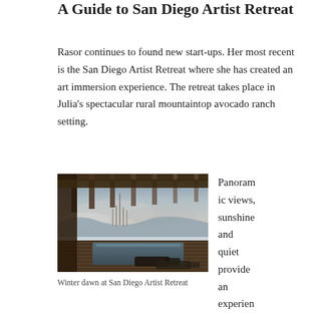A Guide to San Diego Artist Retreat
Rasor continues to found new start-ups. Her most recent is the San Diego Artist Retreat where she has created an art immersion experience. The retreat takes place in Julia's spectacular rural mountaintop avocado ranch setting.
[Figure (photo): Photograph of a pergola-covered outdoor deck with an infinity pool at San Diego Artist Retreat, taken at winter dawn. Misty valley views in the background, lounge chairs on a wooden deck.]
Winter dawn at San Diego Artist Retreat
Panoramic views, sunshine and quiet provide an experience that sparks and fosters